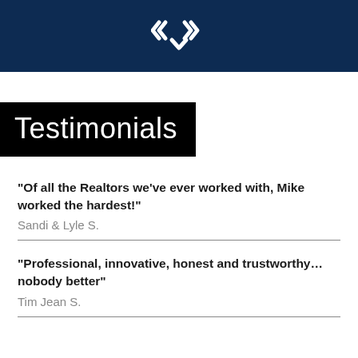[Figure (logo): Keller Williams or similar real estate brand logo — diamond/arrow mark in white on dark navy background]
Testimonials
"Of all the Realtors we've ever worked with, Mike worked the hardest!"
Sandi & Lyle S.
"Professional, innovative, honest and trustworthy...nobody better"
Tim Jean S.